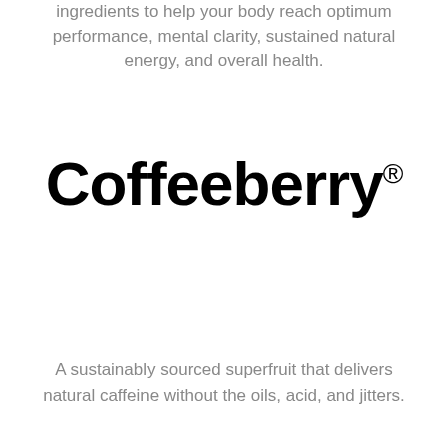ingredients to help your body reach optimum performance, mental clarity, sustained natural energy, and overall health.
[Figure (logo): Coffeeberry® logo in large bold black text with registered trademark symbol]
A sustainably sourced superfruit that delivers natural caffeine without the oils, acid, and jitters.